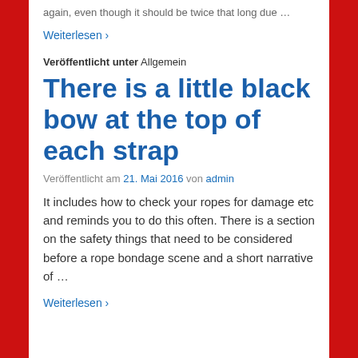again, even though it should be twice that long due …
Weiterlesen ›
Veröffentlicht unter Allgemein
There is a little black bow at the top of each strap
Veröffentlicht am 21. Mai 2016 von admin
It includes how to check your ropes for damage etc and reminds you to do this often. There is a section on the safety things that need to be considered before a rope bondage scene and a short narrative of …
Weiterlesen ›